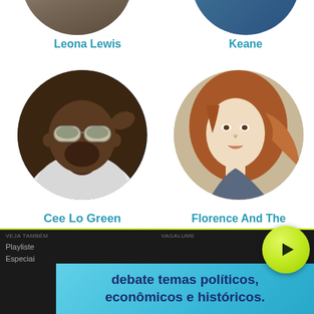[Figure (photo): Partial circular photo of Leona Lewis at top left (cropped)]
[Figure (photo): Partial circular photo of Keane at top right (cropped)]
Leona Lewis
Keane
[Figure (photo): Circular portrait photo of Cee Lo Green wearing sunglasses and white jacket]
[Figure (photo): Circular portrait photo of Florence And The Machine - woman with long red hair]
Cee Lo Green
Florence And The Machine
[Figure (other): Green circular play button icon]
VEJA TAMBÉM
Playliste
Especiai
VAGALUME
debate temas políticos, econômicos e históricos.